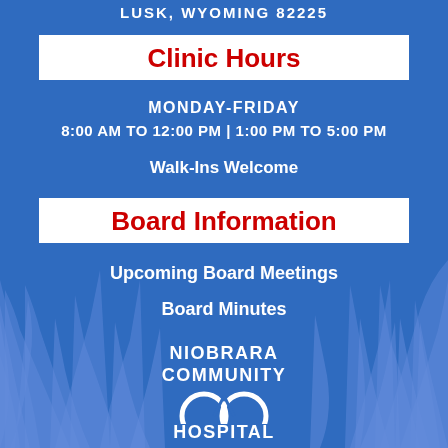LUSK, WYOMING 82225
Clinic Hours
MONDAY-FRIDAY
8:00 AM TO 12:00 PM | 1:00 PM TO 5:00 PM
Walk-Ins Welcome
Board Information
Upcoming Board Meetings
Board Minutes
NIOBRARA COMMUNITY HOSPITAL